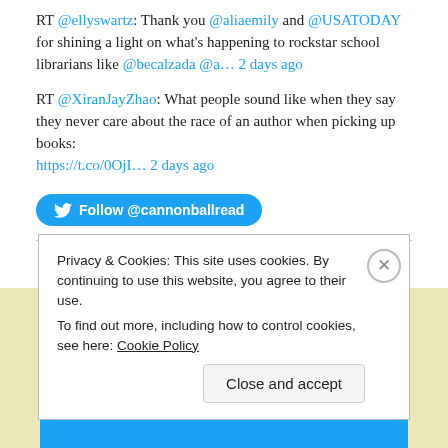RT @ellyswartz: Thank you @aliaemily and @USATODAY for shining a light on what's happening to rockstar school librarians like @becalzada @a… 2 days ago
RT @XiranJayZhao: What people sound like when they say they never care about the race of an author when picking up books: https://t.co/0OjI… 2 days ago
[Figure (other): Follow @cannonballread button — a blue rounded Twitter follow button with bird icon]
Privacy & Cookies: This site uses cookies. By continuing to use this website, you agree to their use.
To find out more, including how to control cookies, see here: Cookie Policy